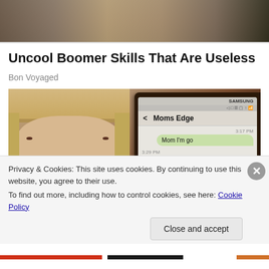[Figure (photo): Top partial image showing a person seated, appearing to be in an interview or office setting, dark background]
Uncool Boomer Skills That Are Useless
Bon Voyaged
[Figure (photo): Two-panel image: left panel shows a young girl with straight hair looking at camera; right panel shows a Samsung phone displaying a text message conversation labeled 'Moms Edge' with messages 'Mom I'm go' and 'He is inside mom here me']
Privacy & Cookies: This site uses cookies. By continuing to use this website, you agree to their use.
To find out more, including how to control cookies, see here: Cookie Policy
Close and accept